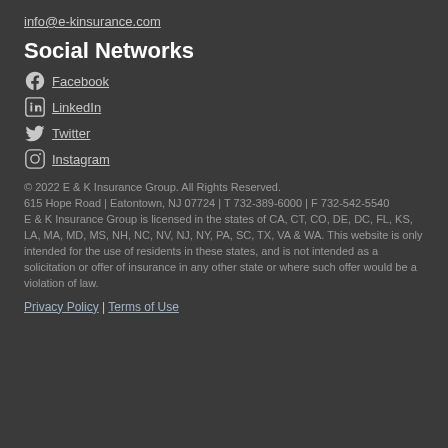info@e-kinsurance.com
Social Networks
Facebook
LinkedIn
Twitter
Instagram
© 2022 E & K Insurance Group. All Rights Reserved.
615 Hope Road | Eatontown, NJ 07724 | T 732-389-6000 | F 732-542-5540
E & K Insurance Group is licensed in the states of CA, CT, CO, DE, DC, FL, KS, LA, MA, MD, MS, NH, NC, NV, NJ, NY, PA, SC, TX, VA & WA. This website is only intended for the use of residents in these states, and is not intended as a solicitation or offer of insurance in any other state or where such offer would be a violation of law.
Privacy Policy | Terms of Use